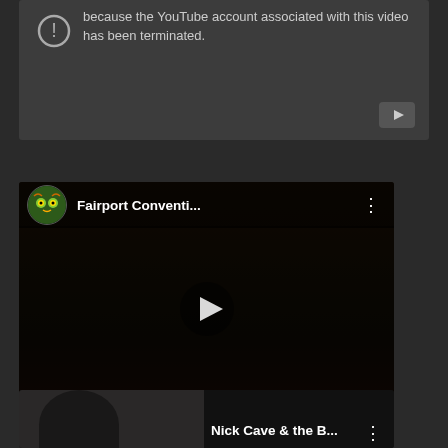[Figure (screenshot): YouTube video error card with warning icon and text: 'because the YouTube account associated with this video has been terminated.' with small YouTube play button logo in bottom right corner.]
[Figure (screenshot): Fairport Convention YouTube video card with channel avatar (colorful owl/eye design), title 'Fairport Conventi...' with three-dot menu, and dark thumbnail showing a band photo with a large play button overlay.]
[Figure (screenshot): Nick Cave & the B... YouTube video card partially visible at bottom of page, showing dark thumbnail with person's face and title text.]